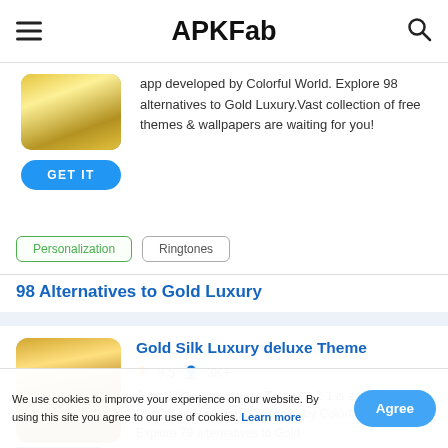APKFab
app developed by Colorful World. Explore 98 alternatives to Gold Luxury.Vast collection of free themes & wallpapers are waiting for you!
Personalization
Ringtones
98 Alternatives to Gold Luxury
Gold Silk Luxury deluxe Theme
9.5  3K+
Gold Silk Luxury deluxe Theme 1.2.1 is an Android Personalization app developed by Colorful World. Explore 79 alternatives to Gold
We use cookies to improve your experience on our website. By using this site you agree to our use of cookies. Learn more
Agree